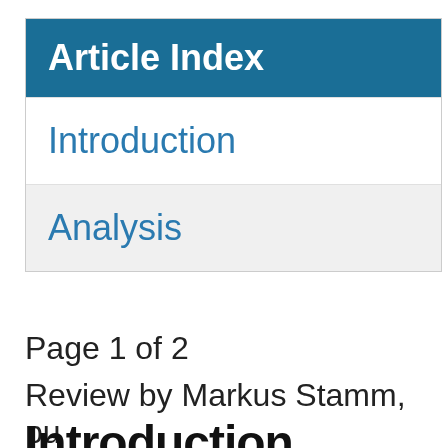Article Index
Introduction
Analysis
Page 1 of 2
Review by Markus Stamm, pu
Special thanks to Michael Färb
Introduction